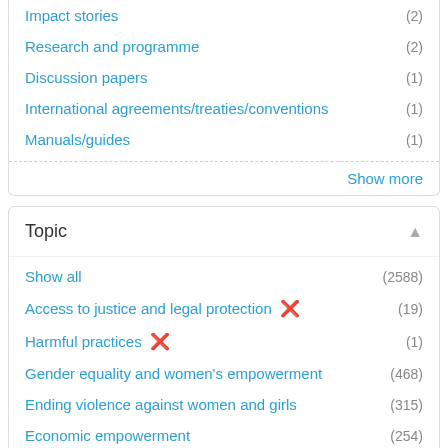Impact stories (2)
Research and programme (2)
Discussion papers (1)
International agreements/treaties/conventions (1)
Manuals/guides (1)
Show more
Topic
Show all (2588)
Access to justice and legal protection ✕ (19)
Harmful practices ✕ (1)
Gender equality and women's empowerment (468)
Ending violence against women and girls (315)
Economic empowerment (254)
Human rights (132)
COVID-19 (124)
Peace and security (117)